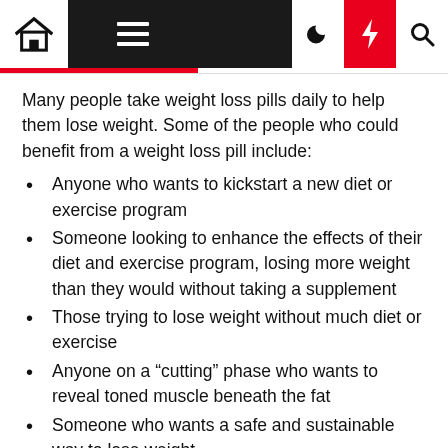Navigation bar with home, menu, moon, lightning, and search icons
Many people take weight loss pills daily to help them lose weight. Some of the people who could benefit from a weight loss pill include:
Anyone who wants to kickstart a new diet or exercise program
Someone looking to enhance the effects of their diet and exercise program, losing more weight than they would without taking a supplement
Those trying to lose weight without much diet or exercise
Anyone on a “cutting” phase who wants to reveal toned muscle beneath the fat
Someone who wants a safe and sustainable way to lose weight
Anyone targeting stubborn fat around